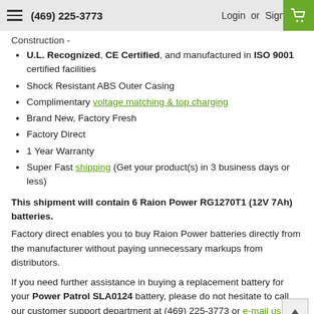(469) 225-3773   Login or Sign Up
Construction -
U.L. Recognized, CE Certified, and manufactured in ISO 9001 certified facilities
Shock Resistant ABS Outer Casing
Complimentary voltage matching & top charging
Brand New, Factory Fresh
Factory Direct
1 Year Warranty
Super Fast shipping (Get your product(s) in 3 business days or less)
This shipment will contain 6 Raion Power RG1270T1 (12V 7Ah) batteries.
Factory direct enables you to buy Raion Power batteries directly from the manufacturer without paying unnecessary markups from distributors.
If you need further assistance in buying a replacement battery for your Power Patrol SLA0124 battery, please do not hesitate to call our customer support department at (469) 225-3773 or e-mail us.